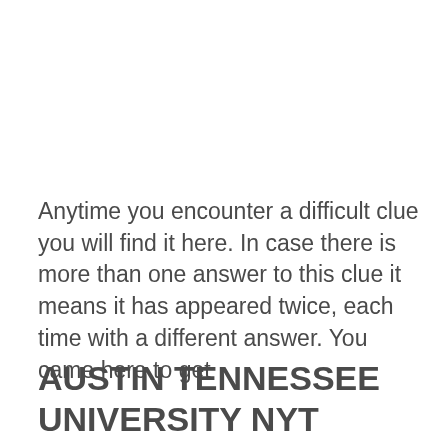Anytime you encounter a difficult clue you will find it here. In case there is more than one answer to this clue it means it has appeared twice, each time with a different answer. You came here to get
AUSTIN TENNESSEE UNIVERSITY NYT Crossword Clue Answer